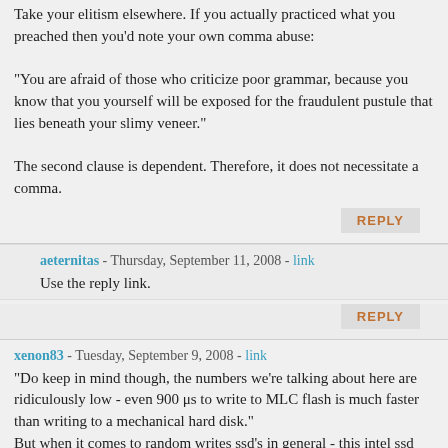Take your elitism elsewhere. If you actually practiced what you preached then you'd note your own comma abuse:

"You are afraid of those who criticize poor grammar, because you know that you yourself will be exposed for the fraudulent pustule that lies beneath your slimy veneer."

The second clause is dependent. Therefore, it does not necessitate a comma.
REPLY
aeternitas - Thursday, September 11, 2008 - link
Use the reply link.
REPLY
xenon83 - Tuesday, September 9, 2008 - link
"Do keep in mind though, the numbers we're talking about here are ridiculously low - even 900 μs to write to MLC flash is much faster than writing to a mechanical hard disk."
But when it comes to random writes ssd's in general - this intel ssd included - fails miserably.
http://www.alternativerecursion.info/?p=106">http://www.alternativerecursion.info/?p=106
REPLY